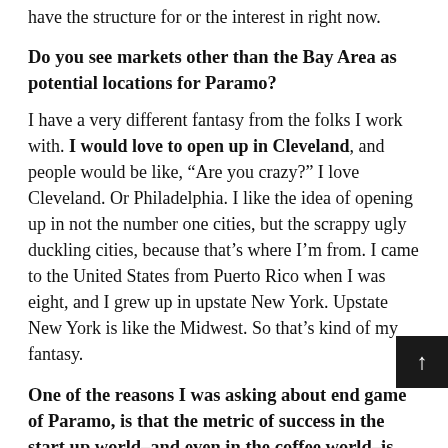have the structure for or the interest in right now.
Do you see markets other than the Bay Area as potential locations for Paramo?
I have a very different fantasy from the folks I work with. I would love to open up in Cleveland, and people would be like, “Are you crazy?” I love Cleveland. Or Philadelphia. I like the idea of opening up in not the number one cities, but the scrappy ugly duckling cities, because that’s where I’m from. I came to the United States from Puerto Rico when I was eight, and I grew up in upstate New York. Upstate New York is like the Midwest. So that’s kind of my fantasy.
One of the reasons I was asking about end game of Paramo, is that the metric of success in the start up world–and even in the coffee world–is that you grow the company and then you sell it. How do you feel about that?